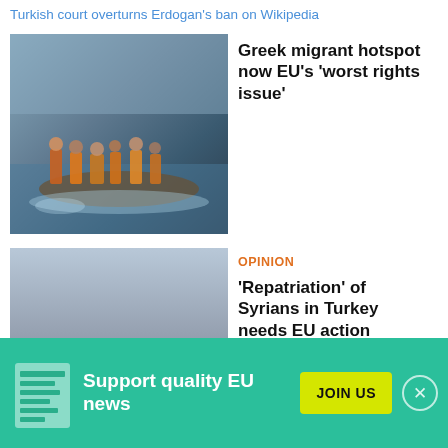Turkish court overturns Erdogan's ban on Wikipedia
[Figure (photo): Migrants in orange life jackets wading through water from a crowded rubber dinghy, sea crossing scene]
Greek migrant hotspot now EU's 'worst rights issue'
[Figure (photo): Rows of white tents in a refugee camp, people visible in the background and foreground]
OPINION
'Repatriation' of Syrians in Turkey needs EU action
[Figure (photo): Partial photo with blue tones, partially obscured by banner]
ANALYSIS
Support quality EU news
JOIN US